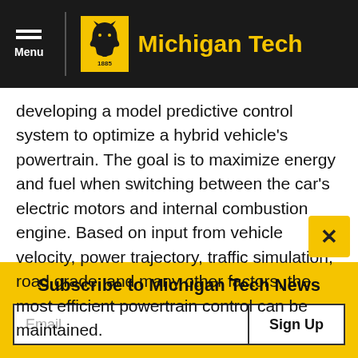Michigan Tech
developing a model predictive control system to optimize a hybrid vehicle's powertrain. The goal is to maximize energy and fuel when switching between the car's electric motors and internal combustion engine. Based on input from vehicle velocity, power trajectory, traffic simulation, road grade, and many other factors, the most efficient powertrain control can be maintained.
Subscribe to Michigan Tech News
Email | Sign Up